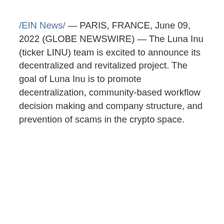/EIN News/ — PARIS, FRANCE, June 09, 2022 (GLOBE NEWSWIRE) — The Luna Inu (ticker LINU) team is excited to announce its decentralized and revitalized project. The goal of Luna Inu is to promote decentralization, community-based workflow decision making and company structure, and prevention of scams in the crypto space.